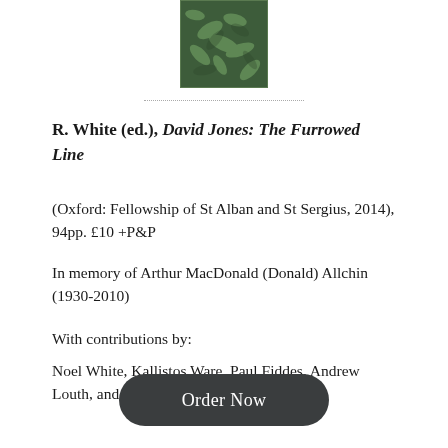[Figure (photo): Book cover thumbnail — green textured/illustrated cover image]
R. White (ed.), David Jones: The Furrowed Line
(Oxford: Fellowship of St Alban and St Sergius, 2014), 94pp. £10 +P&P
In memory of Arthur MacDonald (Donald) Allchin (1930-2010)
With contributions by:
Noel White, Kallistos Ware, Paul Fiddes, Andrew Louth, and James Harvey SJ
Order Now